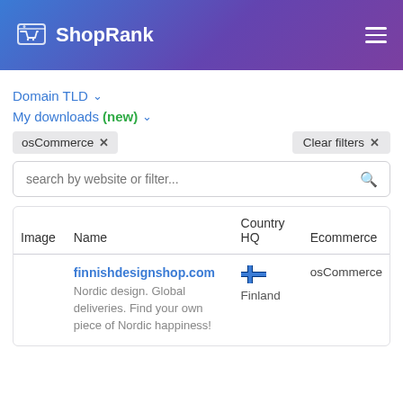ShopRank
Domain TLD
My downloads (new)
osCommerce ×
Clear filters ×
search by website or filter...
| Image | Name | Country HQ | Ecommerce |
| --- | --- | --- | --- |
|  | finnishdesignshop.com
Nordic design. Global deliveries. Find your own piece of Nordic happiness! | 🇫🇮 Finland | osCommerce |